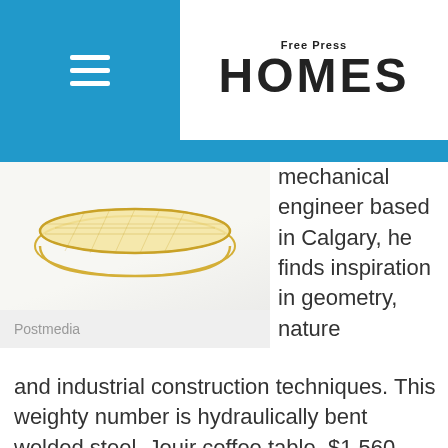Free Press HOMES
[Figure (photo): Product photo of a gold metallic mesh/lattice coffee table on a white background]
Postmedia
mechanical engineer based in Calgary, he finds inspiration in geometry, nature and industrial construction techniques. This weighty number is hydraulically bent welded steel. Jouir coffee table, $1,560, sumersingh.com
Turning Wood Japanese
LoØc Bard's coffee table harkens to